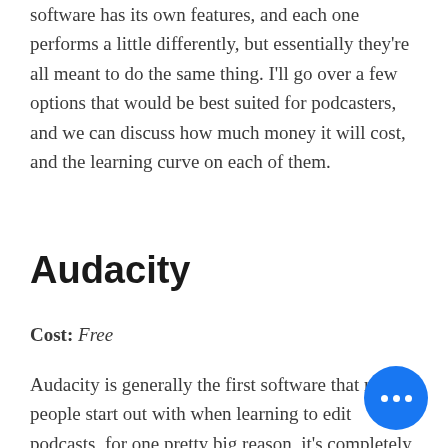software has its own features, and each one performs a little differently, but essentially they're all meant to do the same thing. I'll go over a few options that would be best suited for podcasters, and we can discuss how much money it will cost, and the learning curve on each of them.
Audacity
Cost: Free
Audacity is generally the first software that most people start out with when learning to edit podcasts, for one pretty big reason, it's completely free! Audacity is a really great DAW and a lot